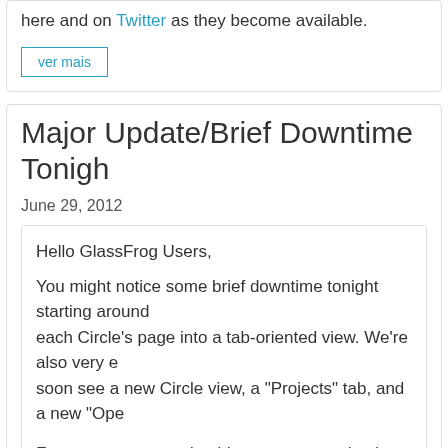here and on Twitter as they become available.
ver mais
Major Update/Brief Downtime Tonight
June 29, 2012
Hello GlassFrog Users,
You might notice some brief downtime tonight starting around each Circle's page into a tab-oriented view. We're also very e soon see a new Circle view, a "Projects" tab, and a new "Ope
For user support and guidance to ease adoption and catalyze
Warm wishes, and enjoy!
Deborah Boyar
GlassFrog Account Manager